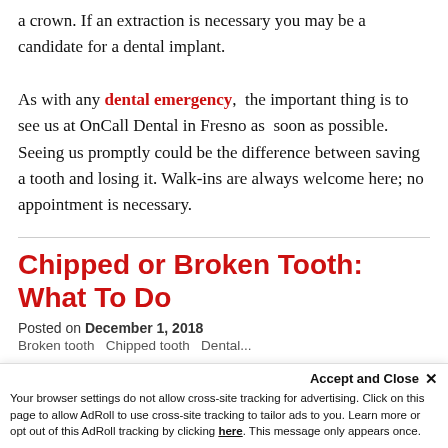a crown. If an extraction is necessary you may be a candidate for a dental implant.

As with any dental emergency,  the important thing is to see us at OnCall Dental in Fresno as  soon as possible. Seeing us promptly could be the difference between saving a tooth and losing it. Walk-ins are always welcome here; no appointment is necessary.
Chipped or Broken Tooth: What To Do
Posted on December 1, 2018
Broken tooth  Chipped tooth  Dental...
Accept and Close ×
Your browser settings do not allow cross-site tracking for advertising. Click on this page to allow AdRoll to use cross-site tracking to tailor ads to you. Learn more or opt out of this AdRoll tracking by clicking here. This message only appears once.